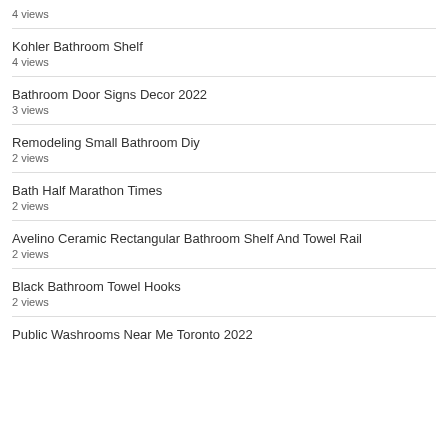4 views
Kohler Bathroom Shelf
4 views
Bathroom Door Signs Decor 2022
3 views
Remodeling Small Bathroom Diy
2 views
Bath Half Marathon Times
2 views
Avelino Ceramic Rectangular Bathroom Shelf And Towel Rail
2 views
Black Bathroom Towel Hooks
2 views
Public Washrooms Near Me Toronto 2022